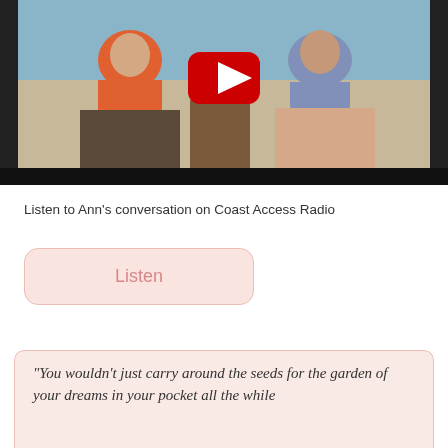[Figure (screenshot): Video thumbnail showing two women seated in chairs having a conversation in a modern room with large windows. A red YouTube play button is overlaid in the center.]
Listen to Ann's conversation on Coast Access Radio
[Figure (other): A pink rounded-rectangle button with the text 'Listen']
"You wouldn't just carry around the seeds for the garden of your dreams in your pocket all the while